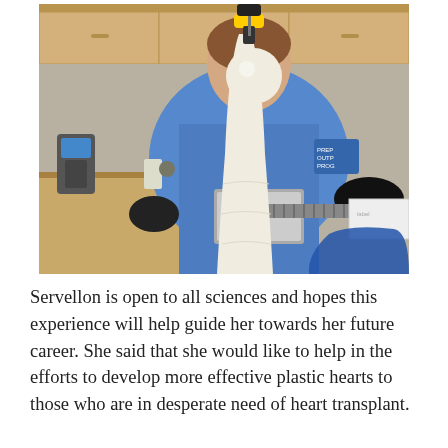[Figure (photo): A person wearing blue scrubs holds a white 3D-printed bone model clamped in a metal vice. In the background is a medical/lab room with cabinets, a handheld scanner device, and a blue trash bag. The person appears to be drilling or working on the bone model.]
Servellon is open to all sciences and hopes this experience will help guide her towards her future career. She said that she would like to help in the efforts to develop more effective plastic hearts to those who are in desperate need of heart transplant.